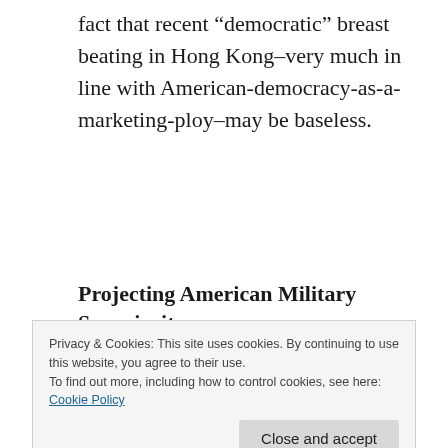fact that recent “democratic” breast beating in Hong Kong–very much in line with American-democracy-as-a-marketing-ploy–may be baseless.
Projecting American Military Superiority
The Unites States budget for 2021, part of $2.3 trillion spending package that includes
Privacy & Cookies: This site uses cookies. By continuing to use this website, you agree to their use.
To find out more, including how to control cookies, see here: Cookie Policy
Trump’s 2021 budget request. How many